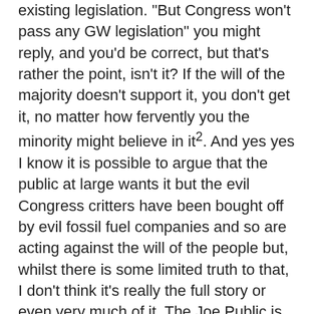existing legislation. But Congress won't pass any GW legislation" you might reply, and you'd be correct, but that's rather the point, isn't it? If the will of the majority doesn't support it, you don't get it, no matter how fervently you the minority might believe in it². And yes yes I know it is possible to argue that the public at large wants it but the evil Congress critters have been bought off by evil fossil fuel companies and so are acting against the will of the people but, whilst there is some limited truth to that, I don't think it's really the full story or even very much of it. The Joe Public is fat complacent unthinking and fond of his comforts. He is prepared to act on your minor campaigns like giving up plastic straws but inclined to regard his obligations as done once that trivia has gone by. As to the executive branch, you have Trump¹, sadly.
[Update: another somewhat more parochial case by Plan B Earth (who, whilst very sweet, are probably idiots) comes my way: Environmental campaigners lose High Court battle over carbon target via a dodgy blog; or you may prefer The Graun's version. Again, I think the decision is correct: deciding the exact size of our CO2 reduction is within the "